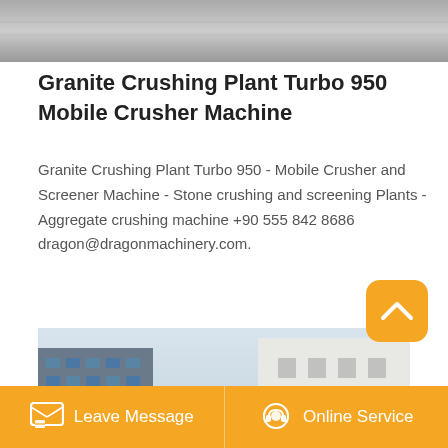[Figure (photo): Top banner showing a grey textured surface, possibly stone or concrete material]
Granite Crushing Plant Turbo 950 Mobile Crusher Machine
Granite Crushing Plant Turbo 950 - Mobile Crusher and Screener Machine - Stone crushing and screening Plants - Aggregate crushing machine +90 555 842 8686 dragon@dragonmachinery.com.
[Figure (photo): Outdoor photo showing an industrial gantry or crane structure with orange horizontal beam, with buildings in the background including a multi-storey building on the left and a white industrial building on the right. Heavy machinery visible in foreground.]
Leave Message   Online Service